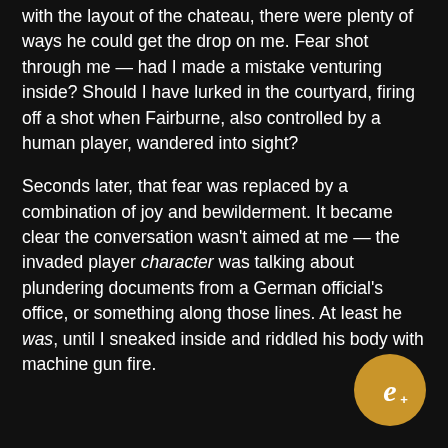with the layout of the chateau, there were plenty of ways he could get the drop on me. Fear shot through me — had I made a mistake venturing inside? Should I have lurked in the courtyard, firing off a shot when Fairburne, also controlled by a human player, wandered into sight?

Seconds later, that fear was replaced by a combination of joy and bewilderment. It became clear the conversation wasn't aimed at me — the invaded player character was talking about plundering documents from a German official's office, or something along those lines. At least he was, until I sneaked inside and riddled his body with machine gun fire.
[Figure (logo): Gold circle with a stylized italic 'e+' monogram in white]